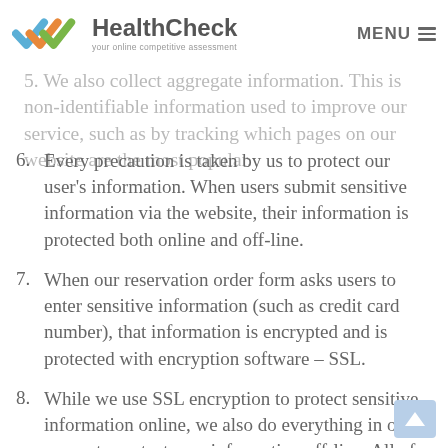HealthCheck — your online competitive assessment | MENU
5. We also collect aggregate information. This is non-identifiable information used to improve our service, such as by tracking which pages on our website are the most popular.
6. Every precaution is taken by us to protect our user's information. When users submit sensitive information via the website, their information is protected both online and off-line.
7. When our reservation order form asks users to enter sensitive information (such as credit card number), that information is encrypted and is protected with encryption software – SSL.
8. While we use SSL encryption to protect sensitive information online, we also do everything in our power to protect user-information off-line. All of our employee information is strict the…